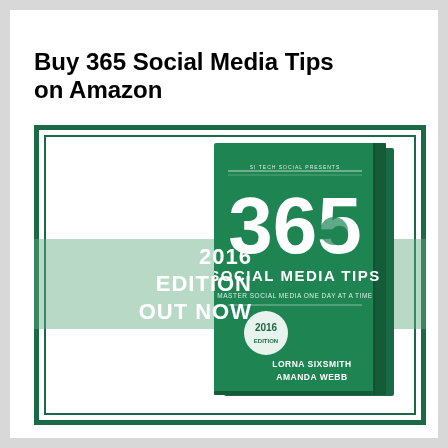Buy 365 Social Media Tips on Amazon
[Figure (illustration): Book cover of '365 Social Media Tips' 2016 Edition by Lorna Sixsmith and Amanda Webb, shown as a green book with large '365' text, overlaid with a green translucent band reading '2016 EDITION OUT NOW', within a dark green double-border frame.]